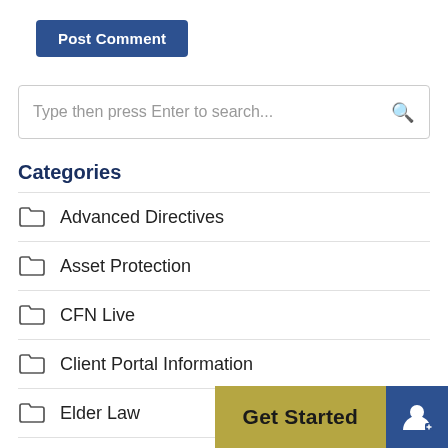[Figure (screenshot): Post Comment button - blue rounded rectangle with white bold text]
Type then press Enter to search...
Categories
Advanced Directives
Asset Protection
CFN Live
Client Portal Information
Elder Law
Estate Planning
[Figure (screenshot): Get Started button (gold/olive background) and user icon button (blue background) at bottom right]